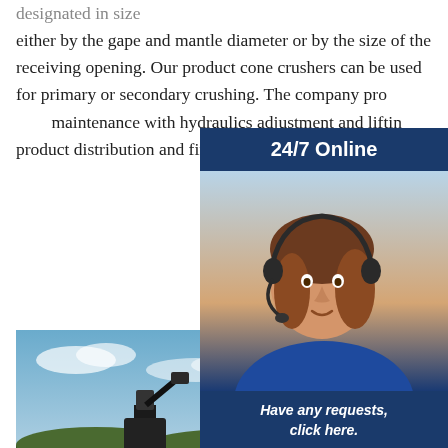designated in size either by the gape and mantle diameter or by the size of the receiving opening. Our product cone crushers can be used for primary or secondary crushing. The company pro maintenance with hydraulics adjustment and liftin product distribution and fineness.
[Figure (photo): Industrial cone crusher machinery at outdoor site under blue sky. Email:lmzgvip@gmail.com overlay text.]
[Figure (infographic): 24/7 Online chat widget with woman wearing headset. 'Have any requests, click here.' and 'Quotation' button.]
con sup indi list d man FOB Reference Price:Get Latest Price
cone crusher manufacturers suppliers in india a cone crusher is generally as a secondary crusher in a crushing circuit. pre-crushed product usually 3in minus depending on the cone crusher model is fed through the top of the cone crusher and flows over the mantle